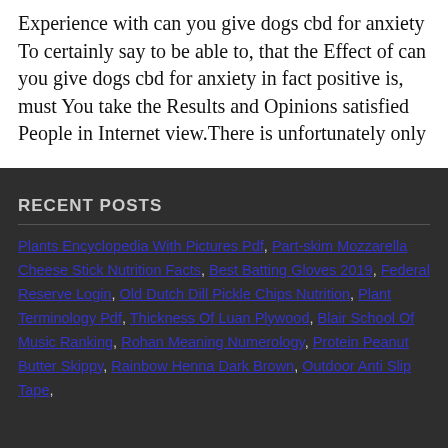Experience with can you give dogs cbd for anxiety To certainly say to be able to, that the Effect of can you give dogs cbd for anxiety in fact positive is, must You take the Results and Opinions satisfied People in Internet view.There is unfortunately only
RECENT POSTS
Plants Encyclopedia With Pictures Pdf, Part-skim Mozzarella Cheese Stick Nutrition Facts, Best Batting Gloves 2019, Federal Reserve Login, Old Dutch Dill Pickle Chips Nutrition, Plant Terminology Pdf, Thickness Of Luan Plywood, Blair School Of Music Ranking, Rohan Meaning Numerology, Protein Peanut Butter Skippy, Rainbow Henna Dark Brown, Outdoor Anti Slip Tape,